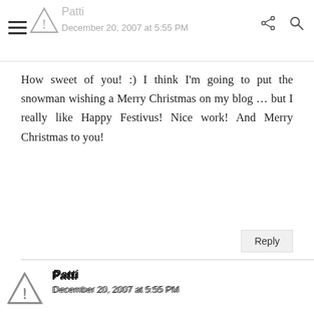Patti — December 20, 2007 at 5:55 PM
How sweet of you! :) I think I'm going to put the snowman wishing a Merry Christmas on my blog … but I really like Happy Festivus! Nice work! And Merry Christmas to you!
Reply
Patti
December 20, 2007 at 5:55 PM
How sweet of you! :) I think I'm going to put the snowman wishing a Merry Christmas on my blog … but I really like Happy Festivus! Nice work! And Merry Christmas to you!
BACK TO TOP
Reply